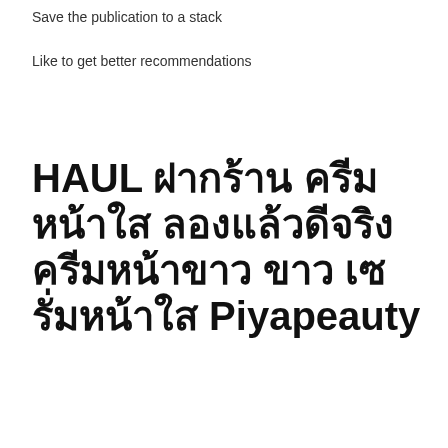Save the publication to a stack
Like to get better recommendations
HAUL ฝากร้าน ครีมหน้าใส ลองแล้วดีจริง ครีมหน้าขาว ขาว เซรั่มหน้าใส Piyapeauty